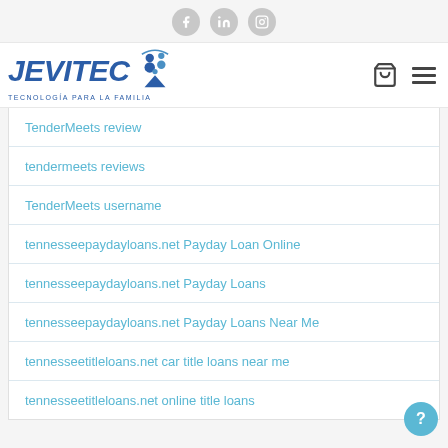Social icons: Facebook, LinkedIn, Instagram
[Figure (logo): JEVITEC logo with tagline TECNOLOGÍA PARA LA FAMILIA and navigation icons (cart, hamburger menu)]
TenderMeets review
tendermeets reviews
TenderMeets username
tennesseepaydayloans.net Payday Loan Online
tennesseepaydayloans.net Payday Loans
tennesseepaydayloans.net Payday Loans Near Me
tennesseetitleloans.net car title loans near me
tennesseetitleloans.net online title loans